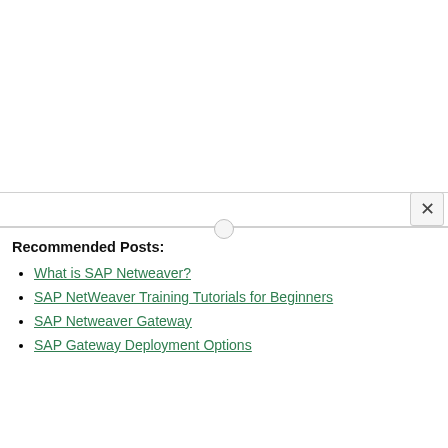Recommended Posts:
What is SAP Netweaver?
SAP NetWeaver Training Tutorials for Beginners
SAP Netweaver Gateway
SAP Gateway Deployment Options